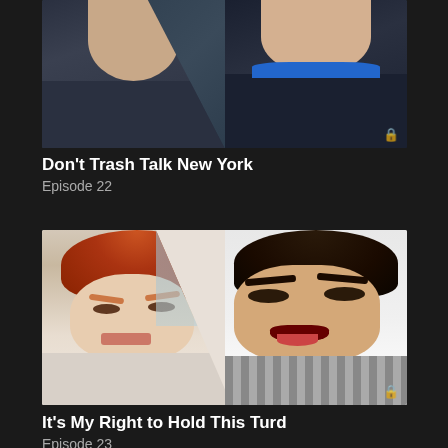[Figure (photo): TV show thumbnail showing two people (cropped at top showing necks/chins), split diagonally. Left person in dark shirt, right person in dark top with blue collar accent. Lock icon in bottom right corner.]
Don't Trash Talk New York
Episode 22
[Figure (photo): TV show thumbnail showing two men with exaggerated expressions. Left: red-haired man with furrowed brow looking annoyed, wearing light shirt. Right: dark-haired man with mouth wide open in shock/anger, wearing plaid shirt. Split diagonally. Lock icon in bottom right corner.]
It's My Right to Hold This Turd
Episode 23